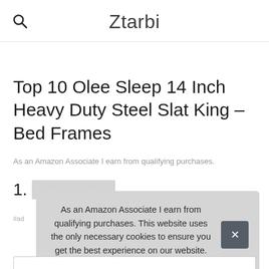Ztarbi
Top 10 Olee Sleep 14 Inch Heavy Duty Steel Slat King – Bed Frames
As an Amazon Associate I earn from qualifying purchases.
1. Olee Sleep
As an Amazon Associate I earn from qualifying purchases. This website uses the only necessary cookies to ensure you get the best experience on our website. More information